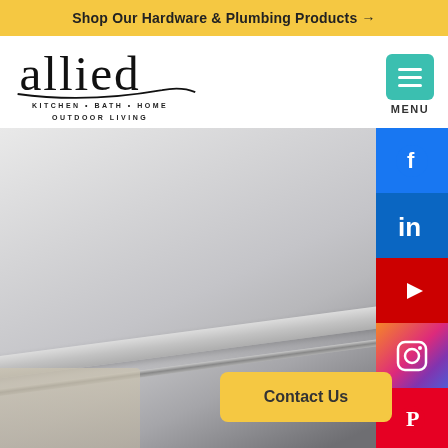Shop Our Hardware & Plumbing Products →
[Figure (logo): Allied Kitchen Bath Home Outdoor Living logo in cursive script]
[Figure (infographic): Menu button (teal/green hamburger icon) with MENU label below]
[Figure (photo): Interior photo showing crown molding, curtain rod, with a Contact Us button overlay and social media icons on the right side]
Contact Us